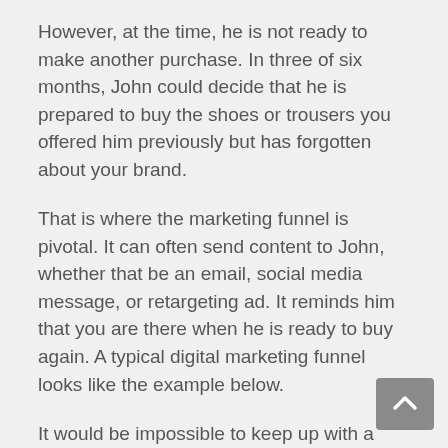However, at the time, he is not ready to make another purchase. In three of six months, John could decide that he is prepared to buy the shoes or trousers you offered him previously but has forgotten about your brand.
That is where the marketing funnel is pivotal. It can often send content to John, whether that be an email, social media message, or retargeting ad. It reminds him that you are there when he is ready to buy again. A typical digital marketing funnel looks like the example below.
It would be impossible to keep up with a journey for every customer, so a comprehensive marketing funnel can automate the process and keep track of the data automatically.